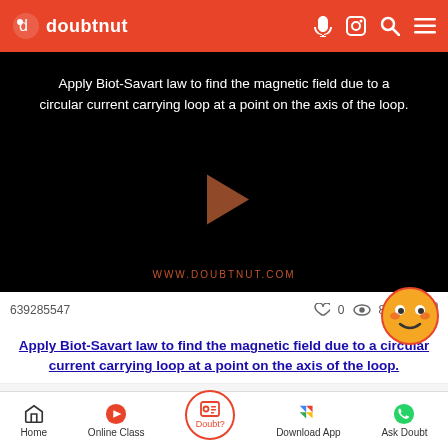doubtnut
[Figure (screenshot): Video thumbnail on black background showing text: Apply Biot-Savart law to find the magnetic field due to a circular current carrying loop at a point on the axis of the loop. A brown play button triangle in the center. Watermark: WWW.DOUBTNUT.COM]
639285547  👍 0  👁 800  3:29
Apply Biot-Savart law to find the magnetic field due to a circular current carrying loop at a point on the axis of the loop.
[Figure (screenshot): Second video preview area with doubtnut logo and text FULL VIDEO AND TEXT SOLUTION on black background]
Home | Online Class | Doubt? | Download App | Ask Doubt